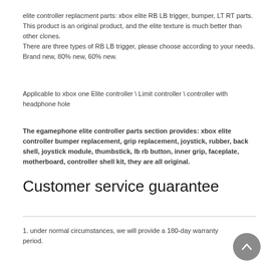elite controller replacment parts: xbox elite RB LB trigger, bumper, LT RT parts.
This product is an original product, and the elite texture is much better than other clones.
There are three types of RB LB trigger, please choose according to your needs. Brand new, 80% new, 60% new.
Applicable to xbox one Elite controller \ Limit controller \ controller with headphone hole
The egamephone elite controller parts section provides: xbox elite controller bumper replacement, grip replacement, joystick, rubber, back shell, joystick module, thumbstick, lb rb button, inner grip, faceplate, motherboard, controller shell kit, they are all original.
Customer service guarantee
1. under normal circumstances, we will provide a 180-day warranty period.